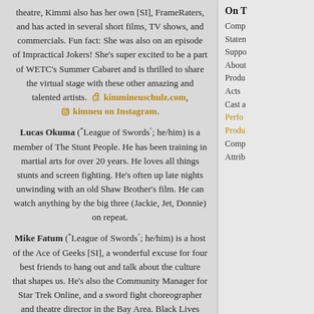theatre, Kimmi also has her own [SI], FrameRaters, and has acted in several short films, TV shows, and commercials. Fun fact: She was also on an episode of Impractical Jokers! She's super excited to be a part of WETC's Summer Cabaret and is thrilled to share the virtual stage with these other amazing and talented artists. kimmineuschulz.com, kimneu on Instagram.
Lucas Okuma ("League of Swords"; he/him) is a member of The Stunt People. He has been training in martial arts for over 20 years. He loves all things stunts and screen fighting. He's often up late nights unwinding with an old Shaw Brother's film. He can watch anything by the big three (Jackie, Jet, Donnie) on repeat.
Mike Fatum ("League of Swords"; he/him) is a host of the Ace of Geeks [SI], a wonderful excuse for four best friends to hang out and talk about the culture that shapes us. He's also the Community Manager for Star Trek Online, and a sword fight choreographer and theatre director in the Bay Area. Black Lives Matter, Trans Rights Are Human Rights. Teach kids compassion early, and put an end to bullying once and for all. You can find him on Twitter @VengeanceGOD, and find League of Swords on Twitter and Facebook.
A printer technician and voice actor originally from Michigan, Morgan Stutler ("Hadrian's Wail"; he/him) moved to Richmond Virginia in